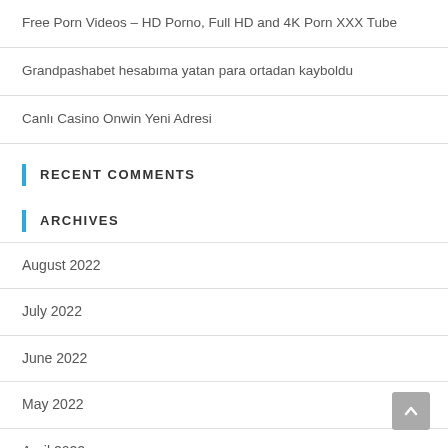Free Porn Videos – HD Porno, Full HD and 4K Porn XXX Tube
Grandpashabet hesabıma yatan para ortadan kayboldu
Canlı Casino Onwin Yeni Adresi
RECENT COMMENTS
ARCHIVES
August 2022
July 2022
June 2022
May 2022
April 2022
March 2022